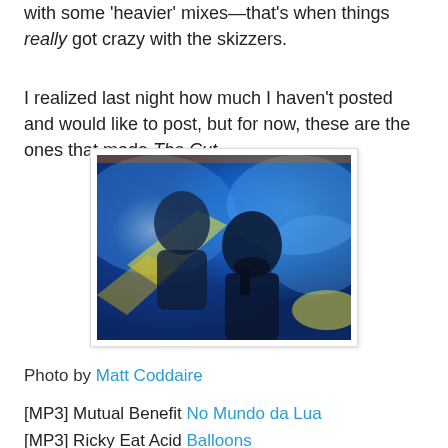with some 'heavier' mixes—that's when things really got crazy with the skizzers.
I realized last night how much I haven't posted and would like to post, but for now, these are the ones that made The Cut.
[Figure (photo): Blurry blue and yellow abstract photo of silhouetted figures in a club or concert setting, with strong blue lighting and yellow accents.]
Photo by Matt Coddaire
[MP3] Mutual Benefit No Mundo da Lua
[MP3] Ricky Eat Acid Balloons